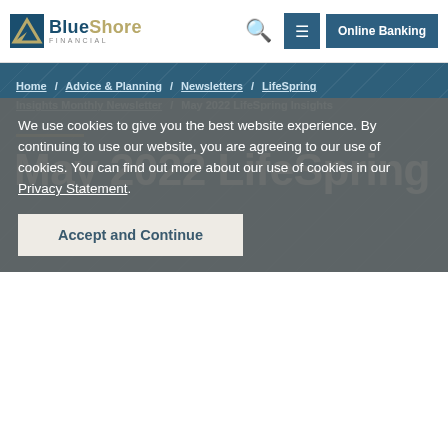BlueShore Financial — Online Banking navigation bar
Home / Advice & Planning / Newsletters / LifeSpring Insights Monthly Newsletter / May 2022 LifeSpring Insights
May 2022 LifeSpring
We use cookies to give you the best website experience. By continuing to use our website, you are agreeing to our use of cookies. You can find out more about our use of cookies in our Privacy Statement.
Accept and Continue